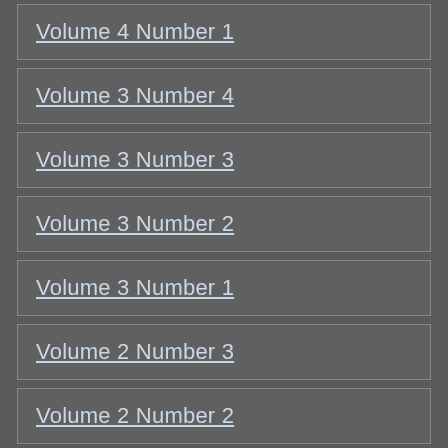Volume 4 Number 1
Volume 3 Number 4
Volume 3 Number 3
Volume 3 Number 2
Volume 3 Number 1
Volume 2 Number 3
Volume 2 Number 2
Volume 2 Number 1
Volume 1 Number 2
Volume 1 Number 1
Related News